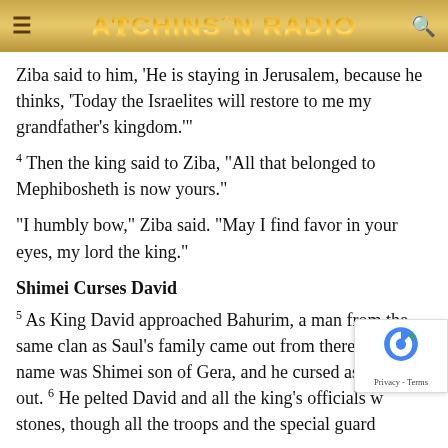[Figure (logo): Atchinson Radio website header with golden/brown gradient background, hamburger menu icon on left, stylized logo text 'ATCHINSON RADIO' in center, search icon on right]
Ziba said to him, 'He is staying in Jerusalem, because he thinks, 'Today the Israelites will restore to me my grandfather's kingdom.'’
4 Then the king said to Ziba, “All that belonged to Mephibosheth is now yours.”
“I humbly bow,” Ziba said. “May I find favor in your eyes, my lord the king.”
Shimei Curses David
5 As King David approached Bahurim, a man from the same clan as Saul’s family came out from there. His name was Shimei son of Gera, and he cursed as he came out. 6 He pelted David and all the king’s officials w… stones, though all the troops and the special guard…